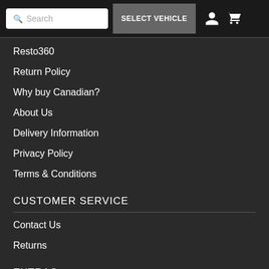Search | SELECT VEHICLE
Resto360
Return Policy
Why buy Canadian?
About Us
Delivery Information
Privacy Policy
Terms & Conditions
CUSTOMER SERVICE
Contact Us
Returns
EXTRAS
Gift Certificates
Specials
Blog Headlines
MY ACCOUNT
[Figure (illustration): Chat/message bubble icon button in grey rounded square]